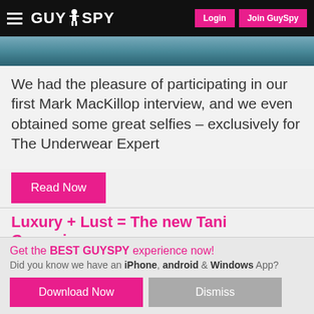GUY SPY — Login | Join GuySpy
[Figure (photo): Partial photo of a man in blue top, cropped at top of page]
We had the pleasure of participating in our first Mark MacKillop interview, and we even obtained some great selfies – exclusively for The Underwear Expert
Read Now
Luxury + Lust = The new Tani Campaign
Oct. 21, 2015, 5 a.m.
[Figure (photo): Photo of a bald man in front of tropical leaf background, with 'Gay Model' badge]
Get the BEST GUYSPY experience now! Did you know we have an iPhone, android & Windows App?
Download Now   Dismiss